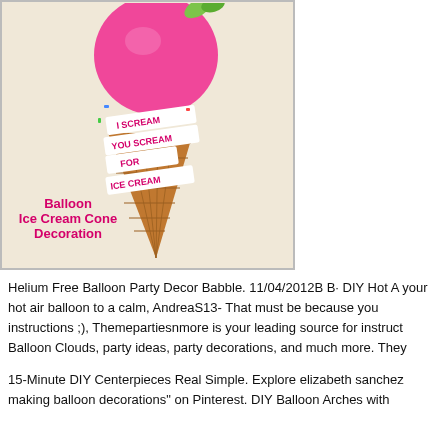[Figure (photo): Photo of a balloon ice cream cone decoration: a pink balloon sits on top of a waffle cone wrapped with a white ribbon reading 'I SCREAM YOU SCREAM FOR ICE CREAM' in pink letters. Text overlay reads 'Balloon Ice Cream Cone Decoration'.]
Helium Free Balloon Party Decor Babble. 11/04/2012B B· DIY Hot A your hot air balloon to a calm, AndreaS13- That must be because you instructions ;), Themepartiesnmore is your leading source for instruct Balloon Clouds, party ideas, party decorations, and much more. They
15-Minute DIY Centerpieces Real Simple. Explore elizabeth sanchez making balloon decorations" on Pinterest. DIY Balloon Arches with